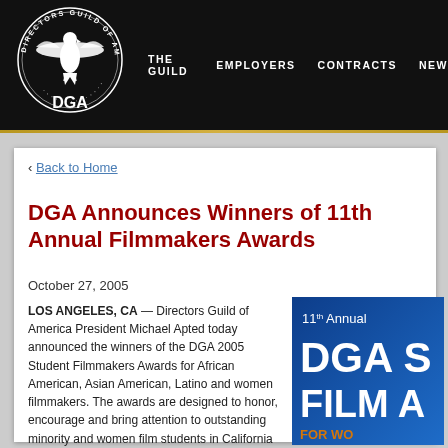DGA — THE GUILD | EMPLOYERS | CONTRACTS | NEWS
‹ Back to Home
DGA Announces Winners of 11th Annual Filmmakers Awards
October 27, 2005
LOS ANGELES, CA — Directors Guild of America President Michael Apted today announced the winners of the DGA 2005 Student Filmmakers Awards for African American, Asian American, Latino and women filmmakers. The awards are designed to honor, encourage and bring attention to outstanding minority and women film students in California film schools and other select universities across the country. Prizes of $2,500 from the DGA along with a product grant valued at $1,000 provided by Kodak's Worldwide Student Film
[Figure (photo): 11th Annual DGA Student Film Awards promotional image with blue background. Text reads '11th Annual DGA S... FILM A... FOR WO...']